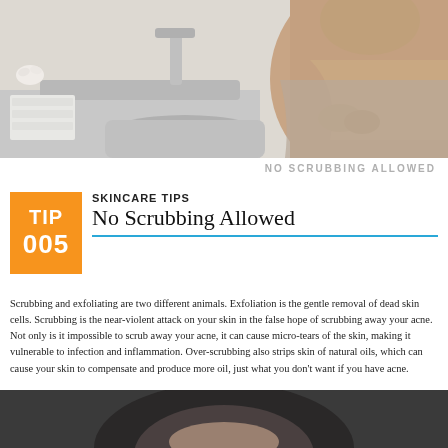[Figure (photo): Woman at a bathroom sink, wearing a beige/tan top, with a faucet and folded towels visible]
NO SCRUBBING ALLOWED
[Figure (infographic): Orange box with white text reading TIP 005]
SKINCARE TIPS
No Scrubbing Allowed
Scrubbing and exfoliating are two different animals. Exfoliation is the gentle removal of dead skin cells. Scrubbing is the near-violent attack on your skin in the false hope of scrubbing away your acne. Not only is it impossible to scrub away your acne, it can cause micro-tears of the skin, making it vulnerable to infection and inflammation. Over-scrubbing also strips skin of natural oils, which can cause your skin to compensate and produce more oil, just what you don't want if you have acne.
[Figure (photo): Close-up photo of a person's face from the top of the head, dark hair visible against a dark background]